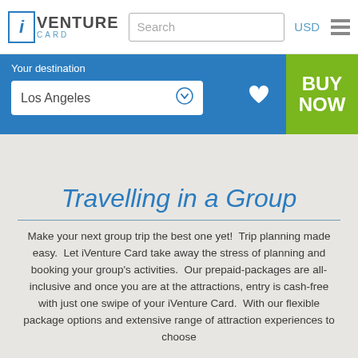iVenture Card | Search | USD
Your destination
Los Angeles
BUY NOW
Travelling in a Group
Make your next group trip the best one yet!  Trip planning made easy.  Let iVenture Card take away the stress of planning and booking your group's activities.  Our prepaid-packages are all-inclusive and once you are at the attractions, entry is cash-free with just one swipe of your iVenture Card.  With our flexible package options and extensive range of attraction experiences to choose